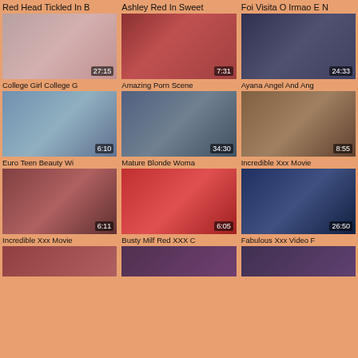[Figure (screenshot): Video thumbnail grid - adult video website listing page with thumbnails and titles]
Red Head Tickled In B
Ashley Red In Sweet
Foi Visita O Irmao E N
College Girl College G
Amazing Porn Scene
Ayana Angel And Ang
Euro Teen Beauty Wi
Mature Blonde Woma
Incredible Xxx Movie
Incredible Xxx Movie
Busty Milf Red XXX C
Fabulous Xxx Video F